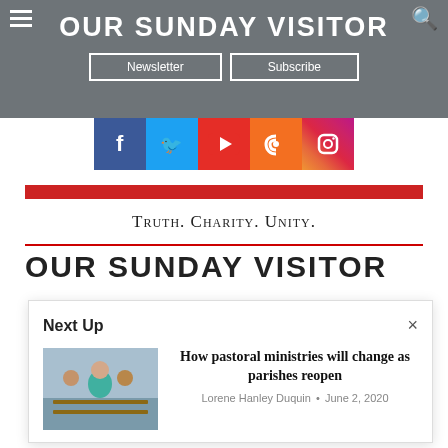OUR SUNDAY VISITOR
Newsletter | Subscribe
[Figure (illustration): Social media icons row: Facebook, Twitter, YouTube, RSS, Instagram]
Truth. Charity. Unity.
OUR SUNDAY VISITOR
Next Up × How pastoral ministries will change as parishes reopen Lorene Hanley Duquin · June 2, 2020